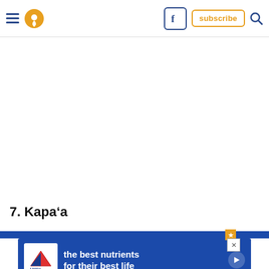Navigation bar with hamburger menu, location icon, Facebook icon, subscribe button, search icon
7. Kapa'a
[Figure (other): Advertisement banner for Hill's pet food: 'the best nutrients for their best life' with Hill's logo]